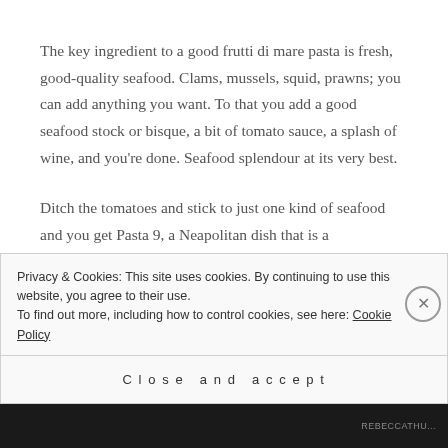The key ingredient to a good frutti di mare pasta is fresh, good-quality seafood. Clams, mussels, squid, prawns; you can add anything you want. To that you add a good seafood stock or bisque, a bit of tomato sauce, a splash of wine, and you're done. Seafood splendour at its very best.
Ditch the tomatoes and stick to just one kind of seafood and you get Pasta 9, a Neapolitan dish that is a
Privacy & Cookies: This site uses cookies. By continuing to use this website, you agree to their use.
To find out more, including how to control cookies, see here: Cookie Policy
Close and accept